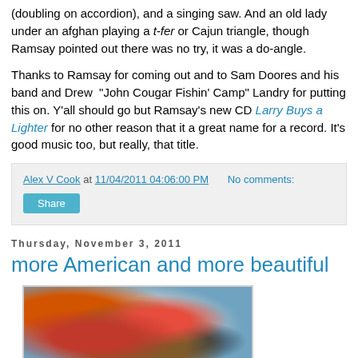(doubling on accordion), and a singing saw. And an old lady under an afghan playing a t-fer or Cajun triangle, though Ramsay pointed out there was no try, it was a do-angle.
Thanks to Ramsay for coming out and to Sam Doores and his band and Drew "John Cougar Fishin' Camp" Landry for putting this on. Y'all should go but Ramsay's new CD Larry Buys a Lighter for no other reason that it a great name for a record. It's good music too, but really, that title.
Alex V Cook at 11/04/2011 04:06:00 PM   No comments:
Share
Thursday, November 3, 2011
more American and more beautiful
[Figure (photo): Photo of a blue pot or bowl containing a stew or soup with tomatoes, beans, and other vegetables.]